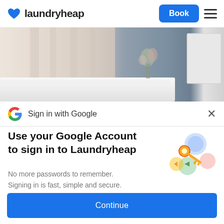[Figure (screenshot): Laundryheap website header with blue heart logo, 'laundryheap' text, blue 'Book' button, and hamburger menu icon]
[Figure (photo): Blurred bedroom photo showing beige curtains, white bed linens, a flower vase, and a wall-mounted panel against a grey wall]
Sign in with Google
Use your Google Account to sign in to Laundryheap
No more passwords to remember. Signing in is fast, simple and secure.
[Figure (illustration): Google key illustration with colorful circular shapes and a golden key icon]
Continue